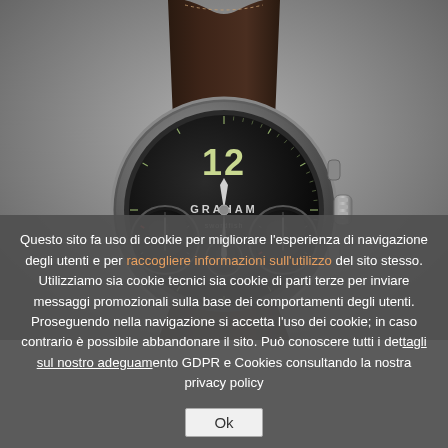[Figure (photo): Close-up photo of a Graham chronograph watch with dark brown leather strap, black dial showing '12' and 'GRAHAM' text, multiple sub-dials, and crown on the right side]
Questo sito fa uso di cookie per migliorare l'esperienza di navigazione degli utenti e per raccogliere informazioni sull'utilizzo del sito stesso. Utilizziamo sia cookie tecnici sia cookie di parti terze per inviare messaggi promozionali sulla base dei comportamenti degli utenti. Proseguendo nella navigazione si accetta l'uso dei cookie; in caso contrario è possibile abbandonare il sito. Può conoscere tutti i dettagli sul nostro adeguamento GDPR e Cookies consultando la nostra privacy policy